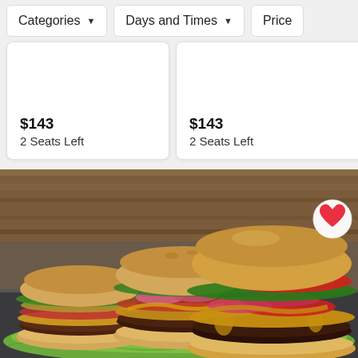Categories ▼
Days and Times ▼
Price
$143
2 Seats Left
$143
2 Seats Left
Add to W
[Figure (photo): Three gourmet cheeseburgers with toppings including pickled red onions, melted cheese, tomato, and lettuce on buns, served on a green plate. A white circular heart/bookmark button is visible in the top right corner.]